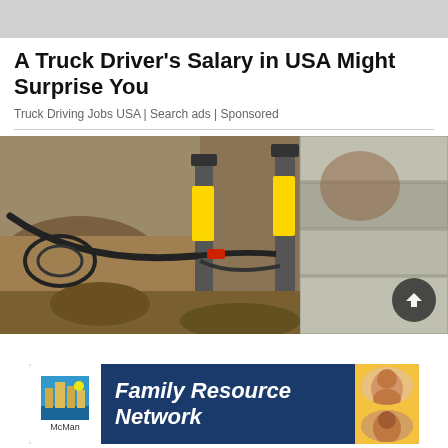[Figure (photo): Gray banner strip at top of page, likely an advertisement image placeholder]
A Truck Driver's Salary in USA Might Surprise You
Truck Driving Jobs USA | Search ads | Sponsored
[Figure (photo): Construction/foundation repair photo showing hydraulic jacks or support posts with yellow sleeves mounted against a concrete block foundation wall, with exposed earth and hoses visible. A scroll-to-top button (dark circle with up arrow) is overlaid in the bottom right.]
[Figure (logo): Family Resource Network advertisement banner with McMan logo on left (building silhouette icon with blue water/sky background), white italic bold text 'Family Resource Network' on navy background, and photos of children on right with yellow background.]